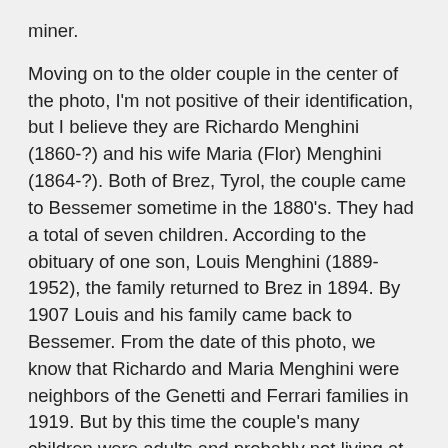miner.
Moving on to the older couple in the center of the photo, I'm not positive of their identification, but I believe they are Richardo Menghini (1860-?) and his wife Maria (Flor) Menghini (1864-?). Both of Brez, Tyrol, the couple came to Bessemer sometime in the 1880's. They had a total of seven children. According to the obituary of one son, Louis Menghini (1889-1952), the family returned to Brez in 1894. By 1907 Louis and his family came back to Bessemer. From the date of this photo, we know that Richardo and Maria Menghini were neighbors of the Genetti and Ferrari families in 1919. But by this time the couple's many children were adults and probably not living at home when this photo was taken.
We would like to thank John and Nancy Faulkner for contributing to our Family Photo Gallery. Now in the